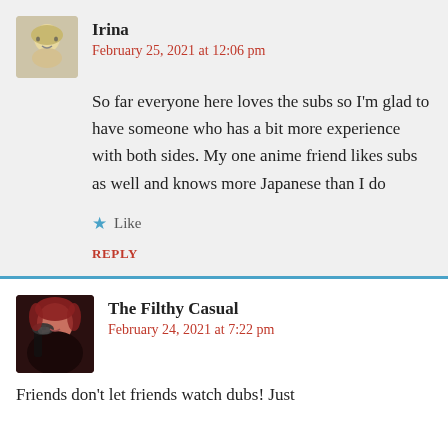Irina
February 25, 2021 at 12:06 pm
So far everyone here loves the subs so I'm glad to have someone who has a bit more experience with both sides. My one anime friend likes subs as well and knows more Japanese than I do
Like
REPLY
The Filthy Casual
February 24, 2021 at 7:22 pm
Friends don't let friends watch dubs! Just